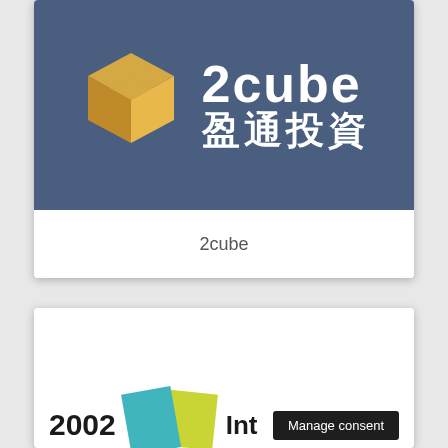[Figure (logo): 2cube 盈通投資 logo card with blue background, orange cube icon, white text '2cube' and Chinese characters '盈通投資']
2cube
[Figure (logo): Partial logo showing '2002 Int' with teal and green geometric shapes, partially obscured by 'Manage consent' dark badge]
Manage consent